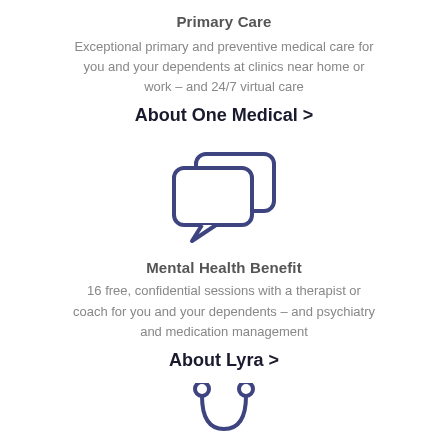Primary Care
Exceptional primary and preventive medical care for you and your dependents at clinics near home or work – and 24/7 virtual care
About One Medical >
[Figure (illustration): Two speech bubble / chat bubble icons overlapping, drawn in dark navy blue outline style]
Mental Health Benefit
16 free, confidential sessions with a therapist or coach for you and your dependents – and psychiatry and medication management
About Lyra >
[Figure (illustration): Stethoscope icon in dark navy blue outline style, partially visible at bottom of page]